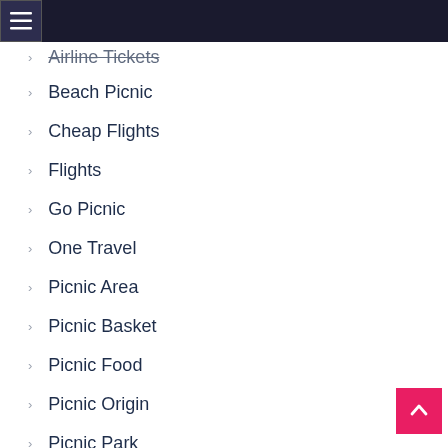Airline Tickets
Beach Picnic
Cheap Flights
Flights
Go Picnic
One Travel
Picnic Area
Picnic Basket
Picnic Food
Picnic Origin
Picnic Park
Picnic Table